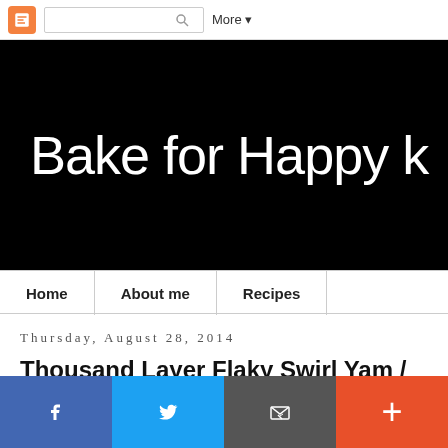Blogger navigation bar with search and More menu
[Figure (screenshot): Blog banner with black background showing 'Bake for Happy K' in white rounded font]
Home | About me | Recipes navigation bar
Thursday, August 28, 2014
Thousand Layer Flaky Swirl Yam / Taro Mo 蛋月月月
I love eating any flaky kind of pastry. And of course, I wouldn't r...
Social share bar: Facebook, Twitter, Email, Plus